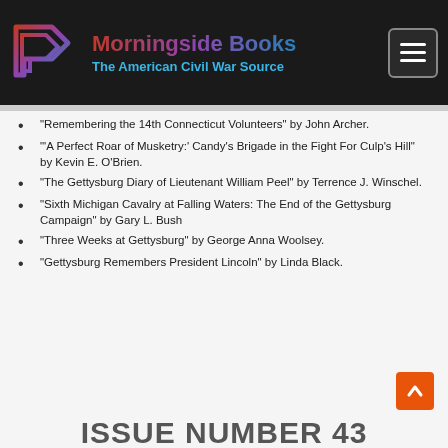Morningside Books — The American Civil War Source
“Remembering the 14th Connecticut Volunteers” by John Archer.
‘‘A Perfect Roar of Musketry:’ Candy’s Brigade in the Fight For Culp’s Hill” by Kevin E. O’Brien.
“The Gettysburg Diary of Lieutenant William Peel” by Terrence J. Winschel.
“Sixth Michigan Cavalry at Falling Waters: The End of the Gettysburg Campaign” by Gary L. Bush
“Three Weeks at Gettysburg” by George Anna Woolsey.
“Gettysburg Remembers President Lincoln” by Linda Black.
ISSUE NUMBER 43